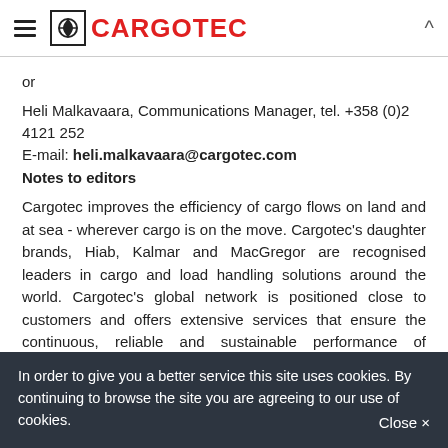CARGOTEC
or
Heli Malkavaara, Communications Manager, tel. +358 (0)2 4121 252
E-mail: heli.malkavaara@cargotec.com
Notes to editors
Cargotec improves the efficiency of cargo flows on land and at sea - wherever cargo is on the move. Cargotec's daughter brands, Hiab, Kalmar and MacGregor are recognised leaders in cargo and load handling solutions around the world. Cargotec's global network is positioned close to customers and offers extensive services that ensure the continuous, reliable and sustainable performance of equipment. Cargotec's sales totalled
In order to give you a better service this site uses cookies. By continuing to browse the site you are agreeing to our use of cookies.